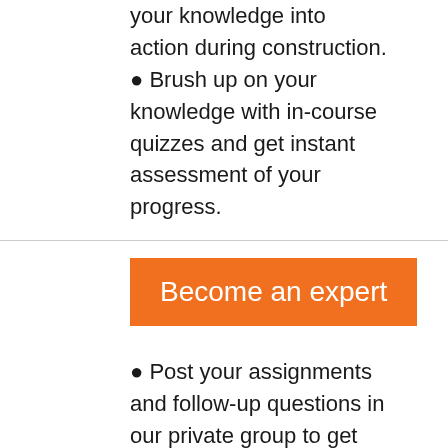your knowledge into action during construction.
Brush up on your knowledge with in-course quizzes and get instant assessment of your progress.
Become an expert
Post your assignments and follow-up questions in our private group to get feedback from us and fellow course participants.
Attend our regular office hours to get answers to your questions from